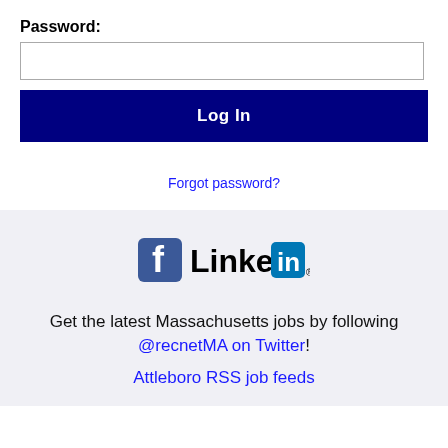Password:
Log In
Forgot password?
[Figure (logo): Facebook and LinkedIn social login icons side by side]
Get the latest Massachusetts jobs by following @recnetMA on Twitter!
Attleboro RSS job feeds